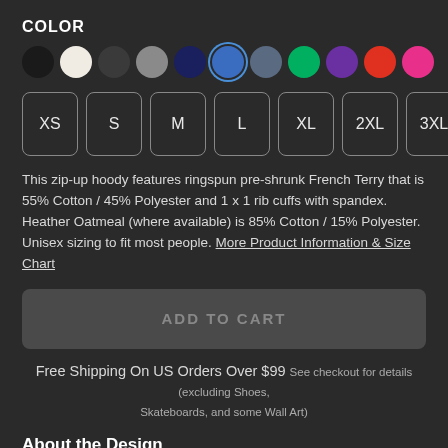COLOR
[Figure (other): Color swatch selector with 11 circular swatches: black, white/cream, dark gray, medium gray, navy, blue (selected), slate blue, green, purple, red, pink]
[Figure (other): Size selector buttons: XS, S, M, L, XL, 2XL, 3XL]
This zip-up hoody features ringspun pre-shrunk French Terry that is 55% Cotton / 45% Polyester and 1 x 1 rib cuffs with spandex. Heather Oatmeal (where available) is 85% Cotton / 15% Polyester. Unisex sizing to fit most people. More Product Information & Size Chart
[Figure (other): ADD TO CART button (greyed out/disabled)]
Free Shipping On US Orders Over $99 See checkout for details (excluding Shoes, Skateboards, and some Wall Art)
About the Design
Forme nothing but good music and positive vibes for everyone you meet